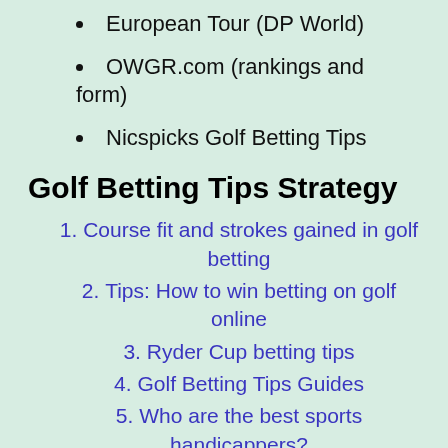European Tour (DP World)
OWGR.com (rankings and form)
Nicspicks Golf Betting Tips
Golf Betting Tips Strategy
Course fit and strokes gained in golf betting
Tips: How to win betting on golf online
Ryder Cup betting tips
Golf Betting Tips Guides
Who are the best sports handicappers?